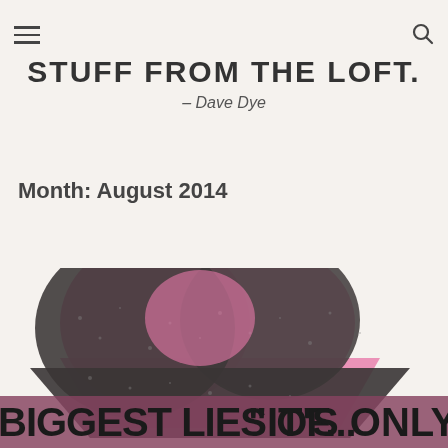STUFF FROM THE LOFT. – Dave Dye
Month: August 2014
[Figure (photo): A glittery dark heart-shaped object with pink elements partially visible, overlaid with bold text reading 'BIGGEST LIES OF...' on the left and '"IT'S ONLY' on the right bottom.]